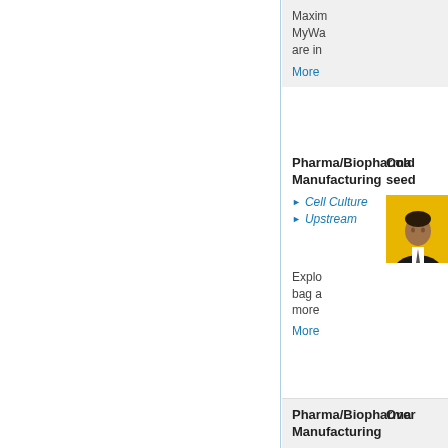Maxim MyWa are in
More
Pharma/Biopharma Manufacturing
Cold seed
Cell Culture
Upstream
[Figure (photo): Headshot of a man in a suit against a yellow background]
Explo bag a more
More
Pharma/Biopharma Manufacturing
Over